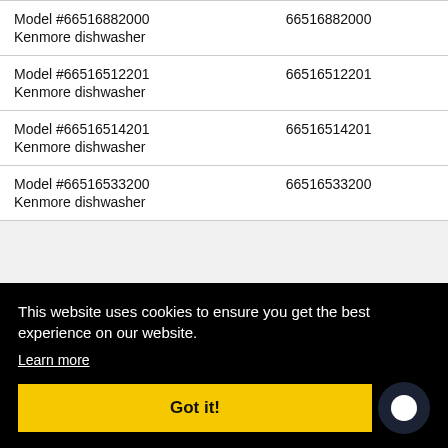| Model | Model Number |
| --- | --- |
| Model #66516882000
Kenmore dishwasher | 66516882000 |
| Model #66516512201
Kenmore dishwasher | 66516512201 |
| Model #66516514201
Kenmore dishwasher | 66516514201 |
| Model #66516533200
Kenmore dishwasher | 66516533200 |
This website uses cookies to ensure you get the best experience on our website. Learn more Got it!